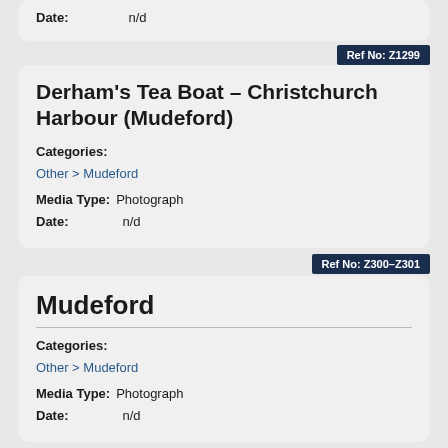Date: n/d
Ref No: Z1299
Derham's Tea Boat – Christchurch Harbour (Mudeford)
Categories:
Other > Mudeford
Media Type: Photograph
Date: n/d
Ref No: Z300–Z301
Mudeford
Categories:
Other > Mudeford
Media Type: Photograph
Date: n/d
Ref No: Z1297